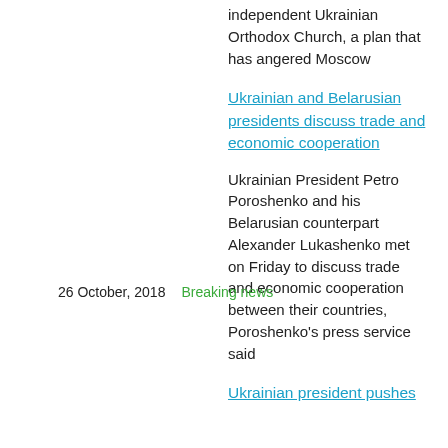independent Ukrainian Orthodox Church, a plan that has angered Moscow
Ukrainian and Belarusian presidents discuss trade and economic cooperation
26 October, 2018
Breaking news
Ukrainian President Petro Poroshenko and his Belarusian counterpart Alexander Lukashenko met on Friday to discuss trade and economic cooperation between their countries, Poroshenko's press service said
Ukrainian president pushes